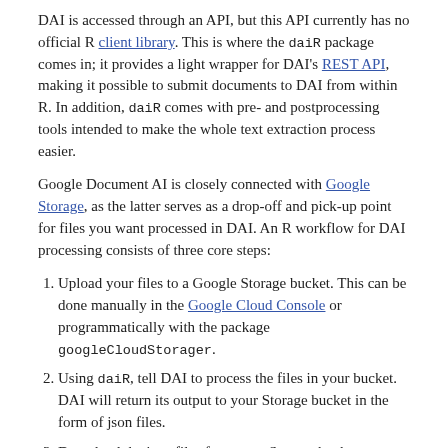DAI is accessed through an API, but this API currently has no official R client library. This is where the daiR package comes in; it provides a light wrapper for DAI's REST API, making it possible to submit documents to DAI from within R. In addition, daiR comes with pre- and postprocessing tools intended to make the whole text extraction process easier.
Google Document AI is closely connected with Google Storage, as the latter serves as a drop-off and pick-up point for files you want processed in DAI. An R workflow for DAI processing consists of three core steps:
Upload your files to a Google Storage bucket. This can be done manually in the Google Cloud Console or programmatically with the package googleCloudStorager.
Using daiR, tell DAI to process the files in your bucket. DAI will return its output to your Storage bucket in the form of json files.
Download the json files from your Storage bucket to your hard drive. Again you can use either the Cloud Console or googleCloudStorager.
Setup